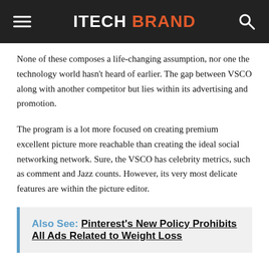ITECH BRAND
None of these composes a life-changing assumption, nor one the technology world hasn't heard of earlier. The gap between VSCO along with another competitor but lies within its advertising and promotion.
The program is a lot more focused on creating premium excellent picture more reachable than creating the ideal social networking network. Sure, the VSCO has celebrity metrics, such as comment and Jazz counts. However, its very most delicate features are within the picture editor.
Also See: Pinterest's New Policy Prohibits All Ads Related to Weight Loss